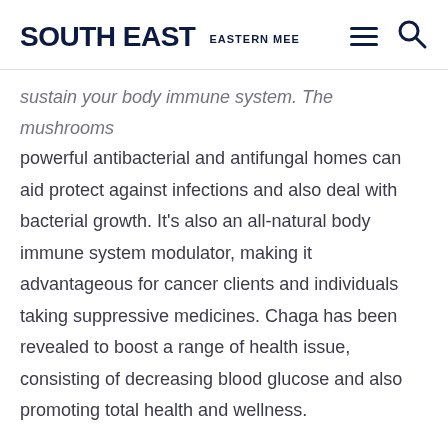SOUTH EAST  EASTERN MEE
…sustain your body immune system. The mushrooms powerful antibacterial and antifungal homes can aid protect against infections and also deal with bacterial growth. It's also an all-natural body immune system modulator, making it advantageous for cancer clients and individuals taking suppressive medicines. Chaga has been revealed to boost a range of health issue, consisting of decreasing blood glucose and also promoting total health and wellness.
This medical mushroom expands in cool, damp areas of the USA, Canada, and also the Arctic. It has an unique